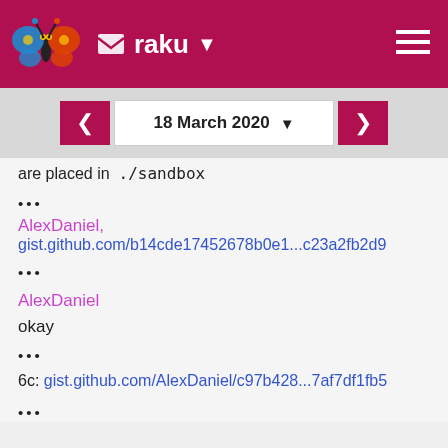raku
are placed in ./sandbox
•••
AlexDaniel,
gist.github.com/b14cde17452678b0e1...c23a2fb2d9
•••
AlexDaniel
okay
•••
6c: gist.github.com/AlexDaniel/c97b428...7af7df1fb5
•••